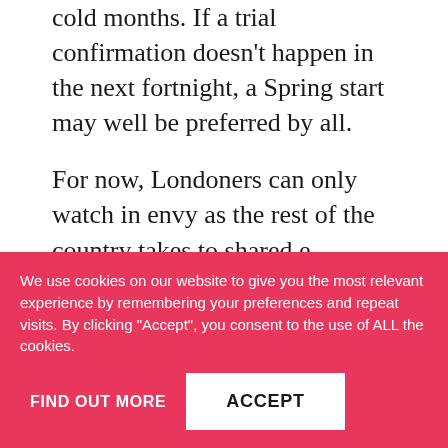cold months. If a trial confirmation doesn't happen in the next fortnight, a Spring start may well be preferred by all.
For now, Londoners can only watch in envy as the rest of the country takes to shared e-scooters.
Additional reporting by Oliver O'Brien.
We use cookies on our website to give you the most relevant experience by remembering your preferences and repeat visits. By clicking "Accept", you consent to the use of ALL the cookies.
FIND OUT MORE
ACCEPT